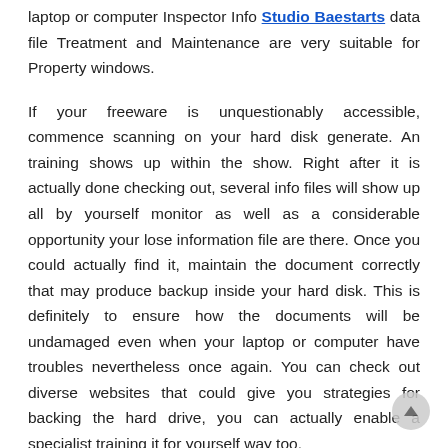laptop or computer Inspector Info Studio Baestarts data file Treatment and Maintenance are very suitable for Property windows.

If your freeware is unquestionably accessible, commence scanning on your hard disk generate. An training shows up within the show. Right after it is actually done checking out, several info files will show up all by yourself monitor as well as a considerable opportunity your lose information file are there. Once you could actually find it, maintain the document correctly that may produce backup inside your hard disk. This is definitely to ensure how the documents will be undamaged even when your laptop or computer have troubles nevertheless once again. You can check out diverse websites that could give you strategies for backing the hard drive, you can actually enable a specialist training it for yourself way too.